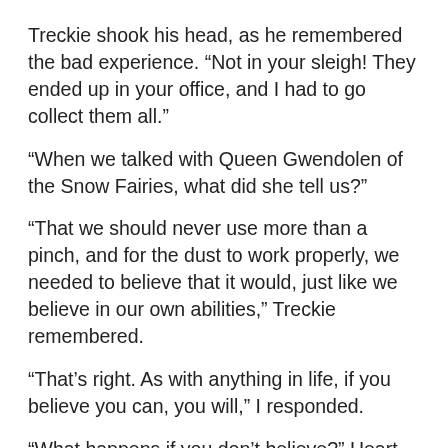Treckie shook his head, as he remembered the bad experience. “Not in your sleigh! They ended up in your office, and I had to go collect them all.”
“When we talked with Queen Gwendolen of the Snow Fairies, what did she tell us?”
“That we should never use more than a pinch, and for the dust to work properly, we needed to believe that it would, just like we believe in our own abilities,” Treckie remembered.
“That’s right. As with anything in life, if you believe you can, you will,” I responded.
“What happens if you don’t believe?” Heart wondered aloud.
“It’s not so much that you believe, but rather what it is that you believe in.”